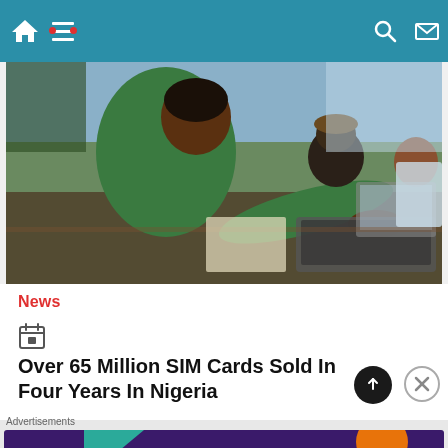Navigation bar with home, menu, dark mode, search, mail icons
[Figure (photo): A young woman in a green hoodie reaching forward to type on a laptop keyboard in an outdoor setting, with other people working on laptops in the background]
News
Over 65 Million SIM Cards Sold In Four Years In Nigeria
[Figure (infographic): WooCommerce advertisement banner: 'Turn your hobby into a business in 8 steps' with teal, orange, and blue geometric shapes on dark purple background]